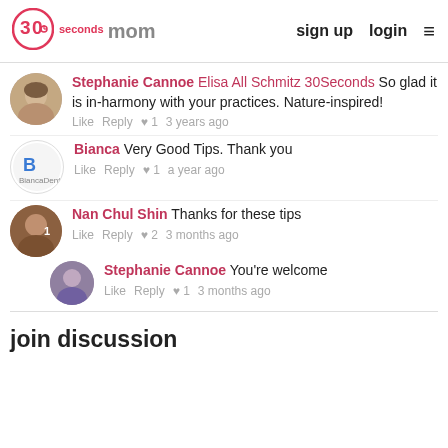30 seconds mom | sign up | login
Stephanie Cannoe Elisa All Schmitz 30Seconds So glad it is in-harmony with your practices. Nature-inspired!
Like Reply ♥ 1 3 years ago
Bianca Very Good Tips. Thank you
Like Reply ♥ 1 a year ago
Nan Chul Shin Thanks for these tips
Like Reply ♥ 2 3 months ago
Stephanie Cannoe You're welcome
Like Reply ♥ 1 3 months ago
join discussion